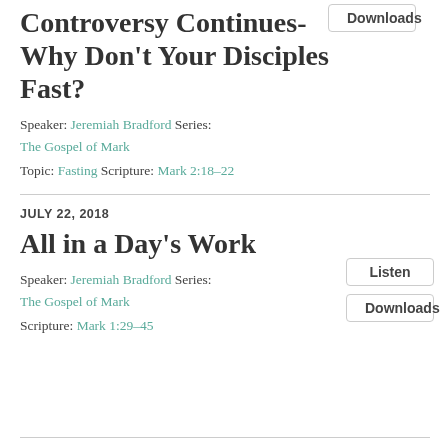Controversy Continues- Why Don't Your Disciples Fast?
Speaker: Jeremiah Bradford Series:
The Gospel of Mark
Topic: Fasting Scripture: Mark 2:18–22
JULY 22, 2018
All in a Day's Work
Speaker: Jeremiah Bradford Series:
The Gospel of Mark
Scripture: Mark 1:29–45